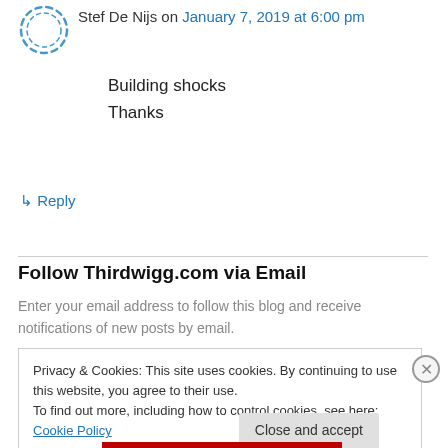[Figure (illustration): Circular dashed avatar icon in blue]
Stef De Nijs on January 7, 2019 at 6:00 pm
Building shocks
Thanks
↳ Reply
Follow Thirdwigg.com via Email
Enter your email address to follow this blog and receive notifications of new posts by email.
Privacy & Cookies: This site uses cookies. By continuing to use this website, you agree to their use.
To find out more, including how to control cookies, see here: Cookie Policy
Close and accept